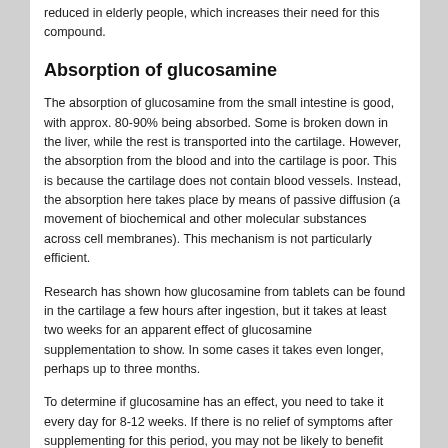reduced in elderly people, which increases their need for this compound.
Absorption of glucosamine
The absorption of glucosamine from the small intestine is good, with approx. 80-90% being absorbed. Some is broken down in the liver, while the rest is transported into the cartilage. However, the absorption from the blood and into the cartilage is poor. This is because the cartilage does not contain blood vessels. Instead, the absorption here takes place by means of passive diffusion (a movement of biochemical and other molecular substances across cell membranes). This mechanism is not particularly efficient.
Research has shown how glucosamine from tablets can be found in the cartilage a few hours after ingestion, but it takes at least two weeks for an apparent effect of glucosamine supplementation to show. In some cases it takes even longer, perhaps up to three months.
To determine if glucosamine has an effect, you need to take it every day for 8-12 weeks. If there is no relief of symptoms after supplementing for this period, you may not be likely to benefit